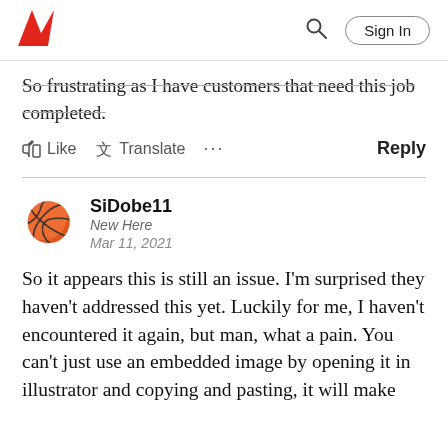Adobe (logo) | Search | Sign In
So frustrating as I have customers that need this job completed.
Like  Translate  ...  Reply
SiDobe11
New Here
Mar 11, 2021
So it appears this is still an issue. I'm surprised they haven't addressed this yet. Luckily for me, I haven't encountered it again, but man, what a pain. You can't just use an embedded image by opening it in illustrator and copying and pasting, it will make